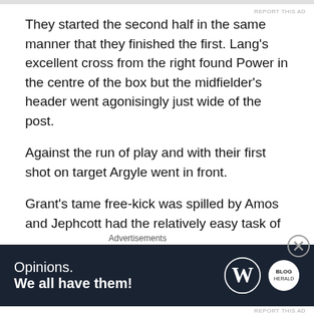They started the second half in the same manner that they finished the first. Lang's excellent cross from the right found Power in the centre of the box but the midfielder's header went agonisingly just wide of the post.
Against the run of play and with their first shot on target Argyle went in front.
Grant's tame free-kick was spilled by Amos and Jephcott had the relatively easy task of finishing from close range.
The visitors almost doubled their lead when the ball was set back for Grant on the edge of the area but the
Advertisements
[Figure (other): WordPress advertisement banner: 'Opinions. We all have them!' with WordPress W logo and Blog logo on dark navy background]